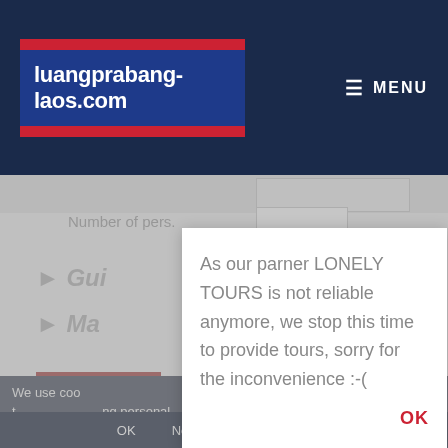[Figure (screenshot): Website header for luangprabang-laos.com with dark navy background, Lao flag-inspired logo (red and blue stripes), and MENU button on the right]
Number of pers.
► Gui
► Ma
Send m
We use coo analyse our traffic and t ng personal.
As our parner LONELY TOURS is not reliable anymore, we stop this time to provide tours, sorry for the inconvenience :-(
OK
OK        Not OK        Privacy Policy